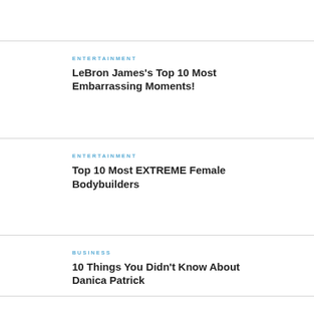ENTERTAINMENT
LeBron James’s Top 10 Most Embarrassing Moments!
ENTERTAINMENT
Top 10 Most EXTREME Female Bodybuilders
BUSINESS
10 Things You Didn’t Know About Danica Patrick